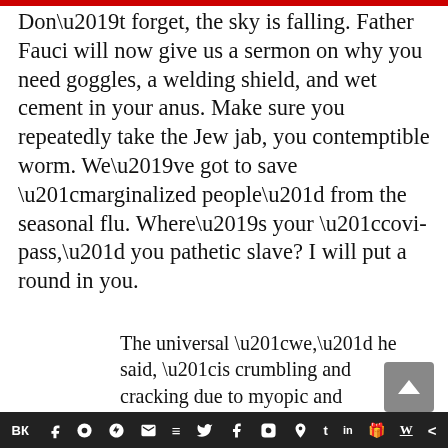Don’t forget, the sky is falling. Father Fauci will now give us a sermon on why you need goggles, a welding shield, and wet cement in your anus. Make sure you repeatedly take the Jew jab, you contemptible worm. We’ve got to save “marginalized people” from the seasonal flu. Where’s your “covi-pass,” you pathetic slave? I will put a round in you.
The universal “we,” he said, “is crumbling and cracking due to myopic and aggressive forms of nationalism and radical individualism.”
[toolbar with social media icons]